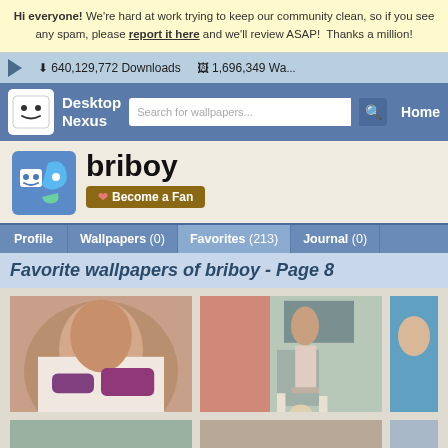Hi everyone! We're hard at work trying to keep our community clean, so if you see any spam, please report it here and we'll review ASAP! Thanks a million!
640,129,772 Downloads   1,696,349 Wallpapers
Desktop Nexus | Search for wallpapers... | Home
briboy
Become a Fan
Profile | Wallpapers (0) | Favorites (213) | Journal (0)
Favorite wallpapers of briboy - Page 8
[Figure (photo): Woman in purple bikini lying on bed]
[Figure (photo): Woman in office attire bending over desk]
[Figure (photo): Partial view of woman in blue/green]
[Figure (photo): Landscape thumbnail (partial)]
[Figure (photo): Second thumbnail (partial)]
[Figure (photo): Third thumbnail (partial)]